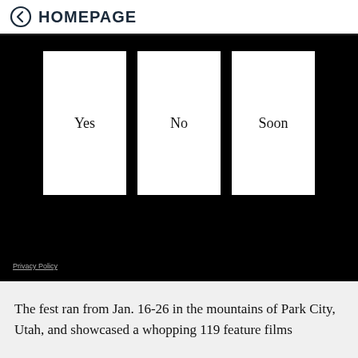HOMEPAGE
[Figure (screenshot): Black background UI panel with three white card buttons labeled Yes, No, Soon, and a Privacy Policy link at the bottom left]
Privacy Policy
The fest ran from Jan. 16-26 in the mountains of Park City, Utah, and showcased a whopping 119 feature films